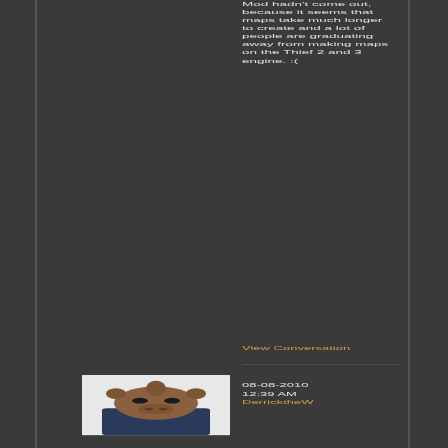Mod hadn't come out, because it seems that maps take much longer to create and a lot of people are graduating away from making maps on the Thief 2 and 3 engine. :(
View Conversation
[Figure (illustration): Pixel art avatar of a character resembling a rhino or tough-looking creature wearing a dark jacket]
08-08-2010 12:39 AM DerricktheW